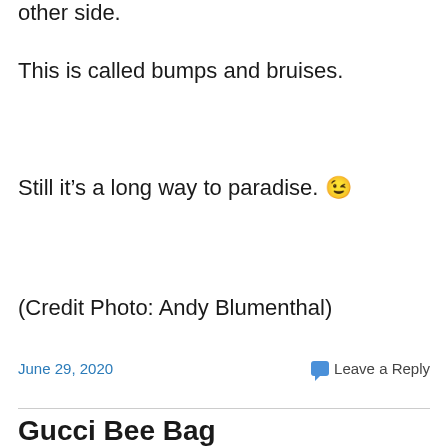other side.
This is called bumps and bruises.
Still it's a long way to paradise. 😉
(Credit Photo: Andy Blumenthal)
June 29, 2020   Leave a Reply
Gucci Bee Bag